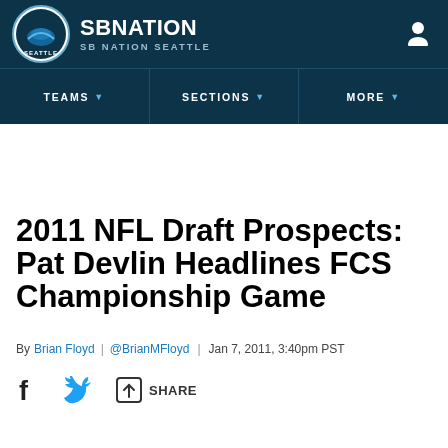SB NATION / SB NATION SEATTLE
2011 NFL Draft Prospects: Pat Devlin Headlines FCS Championship Game
By Brian Floyd | @BrianMFloyd | Jan 7, 2011, 3:40pm PST
SHARE